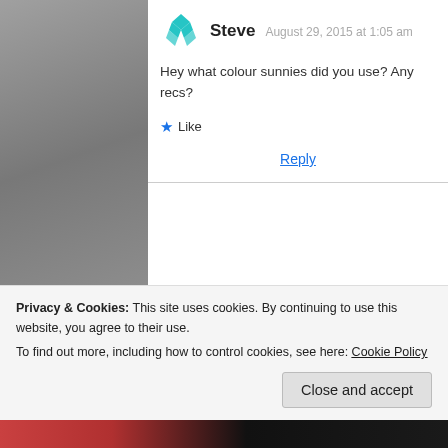[Figure (screenshot): Blog comment section screenshot showing two user comments on a white background with gray water-texture background on sides. First comment by Steve dated August 29, 2015 at 1:05 am with a teal diamond avatar icon. Second comment by mediocreloops with a circular profile photo, dated August 29, 2015 at 10:05 am. A cookie consent banner overlays the bottom of the page.]
Steve  August 29, 2015 at 1:05 am
Hey what colour sunnies did you use? Any recs?
★ Like
Reply
mediocreloops
August 29, 2015 at 10:05 am
Hi, I used copper/amber lenses they worked really well in the salt water.. the guides either
Privacy & Cookies: This site uses cookies. By continuing to use this website, you agree to their use.
To find out more, including how to control cookies, see here: Cookie Policy
Close and accept